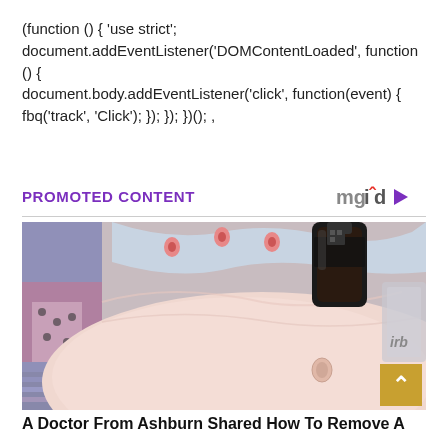(function () { 'use strict'; document.addEventListener('DOMContentLoaded', function () { document.body.addEventListener('click', function(event) { fbq('track', 'Click'); }); }); })(); ,
PROMOTED CONTENT
[Figure (photo): Promoted content advertisement image showing a person's abdomen with a dark soda bottle placed on the stomach, wearing a light blue patterned top. Background shows colorful bedding and room items. A gold scroll-to-top button is visible in the bottom right corner.]
A Doctor From Ashburn Shared How To Remove A